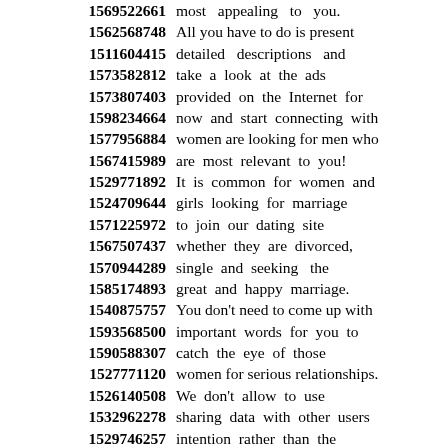1569522661 most appealing to you.
1562568748 All you have to do is present
1511604415 detailed descriptions and
1573582812 take a look at the ads
1573807403 provided on the Internet for
1598234664 now and start connecting with
1577956884 women are looking for men who
1567415989 are most relevant to you!
1529771892 It is common for women and
1524709644 girls looking for marriage
1571225972 to join our dating site
1567507437 whether they are divorced,
1570944289 single and seeking the
1585174893 great and happy marriage.
1540875757 You don't need to come up with
1593568500 important words for you to
1590588307 catch the eye of those
1527771120 women for serious relationships.
1526140508 We don't allow to use
1532962278 sharing data with other users
1529746257 intention rather than the
1543429986 satisfaction and the pleasure.
1575344431 It is an advantage because
1544510550 you will have plenty of options
1582203281 for chat and communication,
1546934304 more choices and more